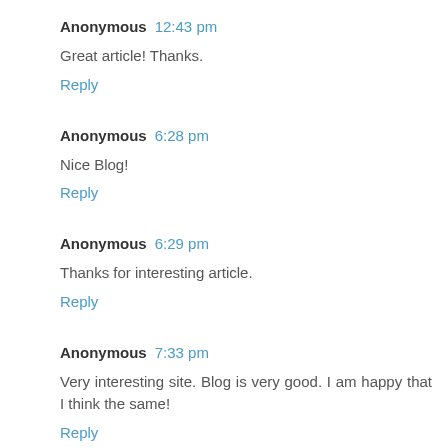Anonymous 12:43 pm
Great article! Thanks.
Reply
Anonymous 6:28 pm
Nice Blog!
Reply
Anonymous 6:29 pm
Thanks for interesting article.
Reply
Anonymous 7:33 pm
Very interesting site. Blog is very good. I am happy that I think the same!
Reply